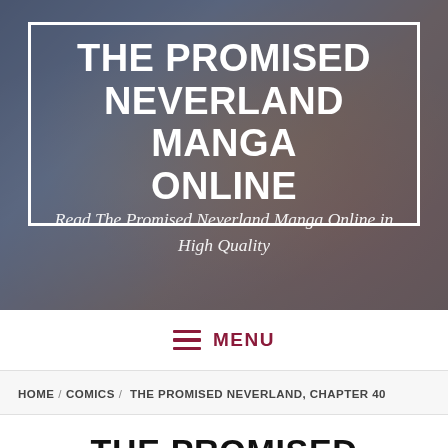[Figure (illustration): Hero banner with anime characters from The Promised Neverland manga, showing characters with blonde and dark hair against an orange/fire-like background with dark overlay]
THE PROMISED NEVERLAND MANGA ONLINE
Read The Promised Neverland Manga Online in High Quality
MENU
HOME / COMICS / THE PROMISED NEVERLAND, CHAPTER 40
THE PROMISED